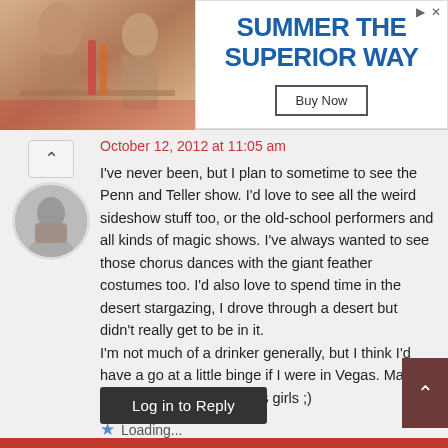[Figure (photo): Advertisement banner: photo of people at a table with drinks on the left, text 'SUMMER THE SUPERIOR WAY' with a 'Buy Now' button on the right]
October 12, 2012 at 11:05 am
I've never been, but I plan to sometime to see the Penn and Teller show. I'd love to see all the weird sideshow stuff too, or the old-school performers and all kinds of magic shows. I've always wanted to see those chorus dances with the giant feather costumes too. I'd also love to spend time in the desert stargazing, I drove through a desert but didn't really get to be in it.
I'm not much of a drinker generally, but I think I'd have a go at a little binge if I were in Vegas. Maybe with some of those chorus girls ;)
Loading...
Log in to Reply